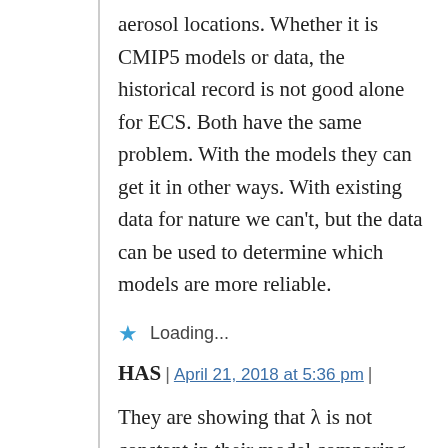aerosol locations. Whether it is CMIP5 models or data, the historical record is not good alone for ECS. Both have the same problem. With the models they can get it in other ways. With existing data for nature we can't, but the data can be used to determine which models are more reliable.
★ Loading...
HAS | April 21, 2018 at 5:36 pm |
They are showing that λ is not constant in their model comparing 1850-1859 to